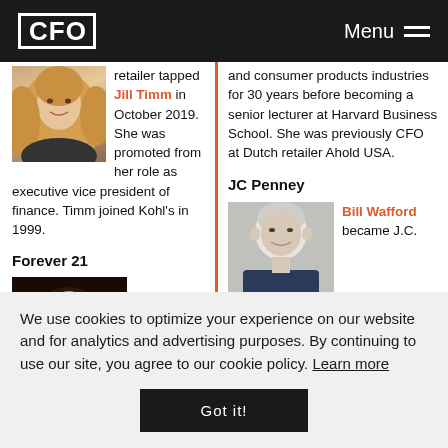CFO | Menu
retailer tapped Jill Timm in October 2019. She was promoted from her role as executive vice president of finance. Timm joined Kohl's in 1999.
and consumer products industries for 30 years before becoming a senior lecturer at Harvard Business School. She was previously CFO at Dutch retailer Ahold USA.
Forever 21
Brad Sell joined the
JC Penney
Bill Wafford became J.C.
We use cookies to optimize your experience on our website and for analytics and advertising purposes. By continuing to use our site, you agree to our cookie policy. Learn more
Got it!